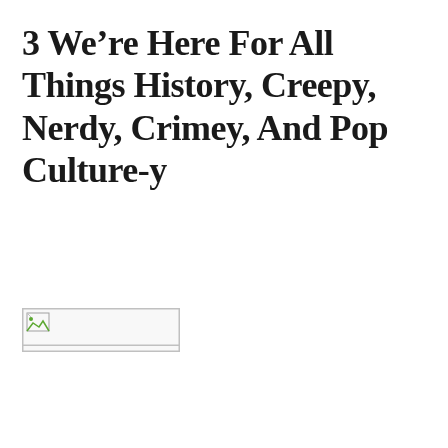3 We're Here For All Things History, Creepy, Nerdy, Crimey, And Pop Culture-y
[Figure (other): Broken/unloaded image placeholder, small horizontal rectangle with broken image icon]
[Figure (other): Broken/unloaded image placeholder, small horizontal rectangle with broken image icon]